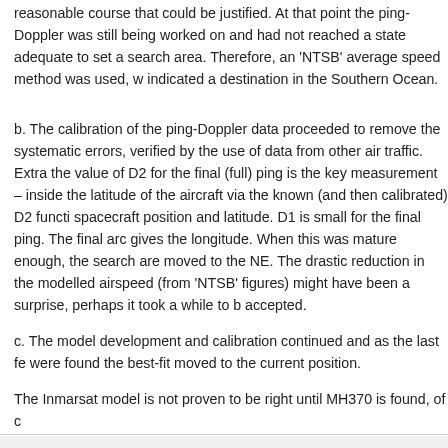reasonable course that could be justified. At that point the ping-Doppler was still being worked on and had not reached a state adequate to set a search area. Therefore, an 'NTSB' average speed method was used, which indicated a destination in the Southern Ocean.
b. The calibration of the ping-Doppler data proceeded to remove the systematic errors, verified by the use of data from other air traffic. Extra: the value of D2 for the final (full) ping is the key measurement – inside the latitude of the aircraft via the known (and then calibrated) D2 function of spacecraft position and latitude. D1 is small for the final ping. The final arc gives the longitude. When this was mature enough, the search area moved to the NE. The drastic reduction in the modelled airspeed (from 'NTSB' figures) might have been a surprise, perhaps it took a while to be accepted.
c. The model development and calibration continued and as the last few were found the best-fit moved to the current position.
The Inmarsat model is not proven to be right until MH370 is found, of c
GuardedDon said,
April 20, 2014 at 2:19 pm

@alex